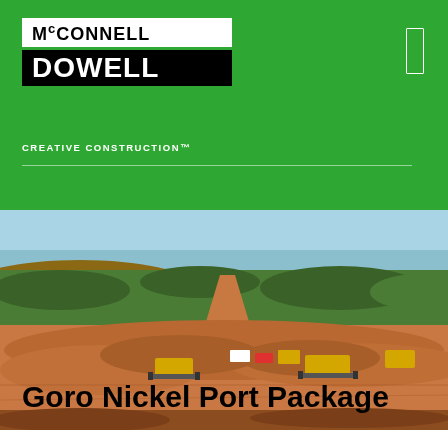[Figure (logo): McConnell Dowell logo with 'Creative Construction' tagline on green header background]
[Figure (photo): Aerial/wide-angle photo of a construction site with red/orange earth, bulldozers and heavy equipment working, green vegetation and water body in background]
Goro Nickel Port Package